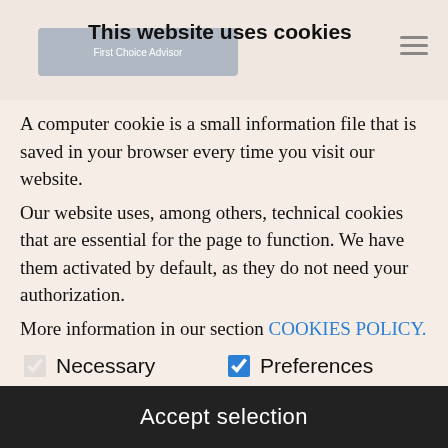This website uses cookies
A computer cookie is a small information file that is saved in your browser every time you visit our website.
Our website uses, among others, technical cookies that are essential for the page to function. We have them activated by default, as they do not need your authorization.
More information in our section COOKIES POLICY.
Necessary (checked, greyed)
Preferences (checked, blue)
Statistics (unchecked)
Marketing (unchecked)
Accept selection